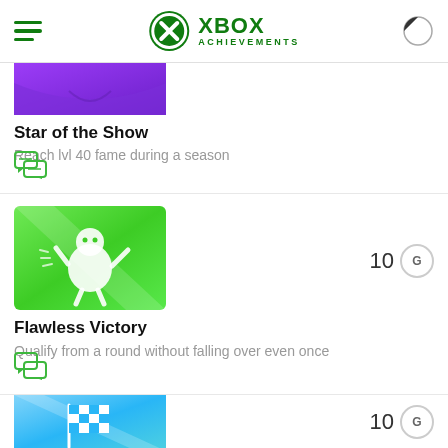XBOX ACHIEVEMENTS
[Figure (screenshot): Partial achievement image with purple gradient background for 'Star of the Show']
Star of the Show
Reach lvl 40 fame during a season
[Figure (illustration): Green achievement badge with cartoon character mascot for 'Flawless Victory', score: 10G]
Flawless Victory
Qualify from a round without falling over even once
[Figure (illustration): Blue achievement badge with checkered flag icon, score: 10G]